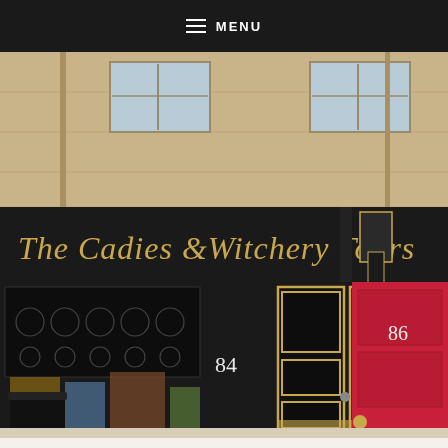MENU
[Figure (photo): Street-level photograph of The Cadies & Witchery Tours shop at 84, on the Royal Mile in Edinburgh. The shopfront has a black fascia with gold serif lettering reading 'The Cadies &Witchery Tours'. There is an ornate black door with gold trim panels in the center (number 84), decorative ironwork windows on the left with colorful items visible inside, and a bright red door to the right (number 86). The building above shows sandstone masonry with windows. A black bin is visible at the lower left.]